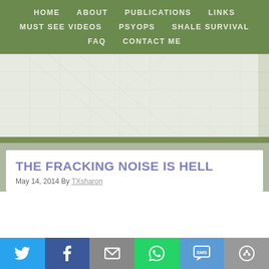HOME   ABOUT   PUBLICATIONS   LINKS   MUST SEE VIDEOS   PSYOPS   SHALE SURVIVAL   FAQ   CONTACT ME
[Figure (illustration): Website banner with a faded street map background, a purple/blue flower with green leaves, and partial large purple text 'Blu' on the right side]
THE FRACKING NOISE IS HELL
May 14, 2014 By TXsharon
[Figure (infographic): Social sharing bar with icons for Twitter (blue), Facebook (dark blue), Email (gray), WhatsApp (green), SMS (blue), and a share icon (gray)]